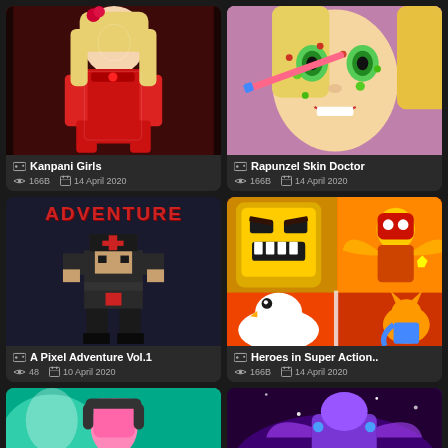[Figure (screenshot): Kanpani Girls game thumbnail - anime girl in red armor]
🎮 Kanpani Girls
👁 166B  📅 14 April 2020
[Figure (screenshot): Rapunzel Skin Doctor game thumbnail - Rapunzel with face acne treatment]
🎮 Rapunzel Skin Doctor
👁 166B  📅 14 April 2020
[Figure (screenshot): A Pixel Adventure Vol.1 game thumbnail - pixel art character with ADVENTURE text]
🎮 A Pixel Adventure Vol.1
👁 48  📅 10 April 2020
[Figure (screenshot): Heroes in Super Action game thumbnail - cartoon action characters]
🎮 Heroes in Super Action..
👁 166B  📅 14 April 2020
[Figure (screenshot): Bottom left game thumbnail - teal/green background game]
[Figure (screenshot): Bottom right game thumbnail - purple/space background game]